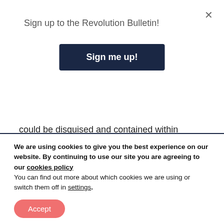Sign up to the Revolution Bulletin!
Sign me up!
could be disguised and contained within manageable limits. But that is no longer the case.
The continued growth of class inequality has created a level of social polarisation not seen for decades. It is testing the traditional mechanisms of bourgeois
We are using cookies to give you the best experience on our website. By continuing to use our site you are agreeing to our cookies policy
You can find out more about which cookies we are using or switch them off in settings.
Accept